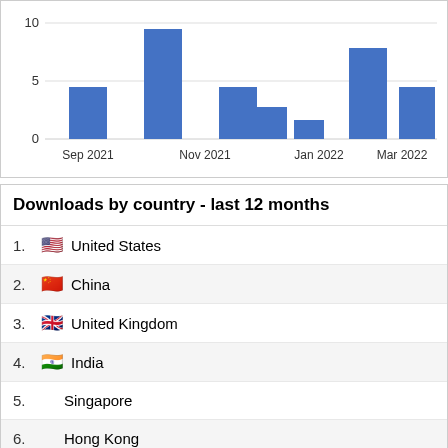[Figure (bar-chart): Downloads over time]
Downloads by country - last 12 months
1. United States
2. China
3. United Kingdom
4. India
5. Singapore
6. Hong Kong
7. Taiwan
8. Qatar
9. Netherlands